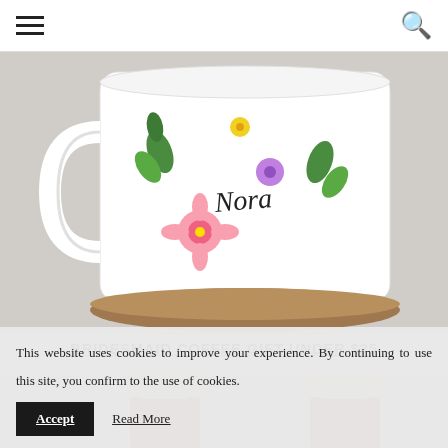Navigation header with hamburger menu and search icon
[Figure (photo): A white ceramic coffee mug with a decorative floral letter 'N' and the name 'Nora' written in script, placed on a wooden slice surface]
BRIDESMAID COFFEE GIFT UNDER $25
[Figure (photo): Two dress form mannequins wearing terracotta/rust colored dresses, shown side by side]
This website uses cookies to improve your experience. By continuing to use this site, you confirm to the use of cookies.
Accept  Read More